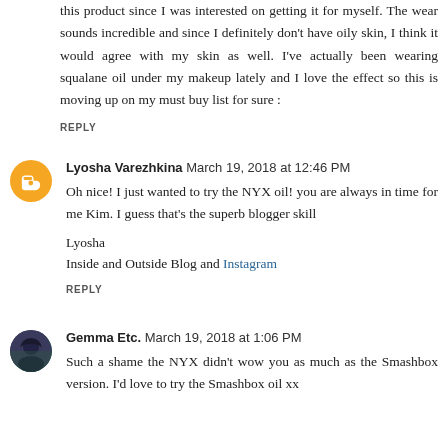this product since I was interested on getting it for myself. The wear sounds incredible and since I definitely don't have oily skin, I think it would agree with my skin as well. I've actually been wearing squalane oil under my makeup lately and I love the effect so this is moving up on my must buy list for sure :
REPLY
Lyosha Varezhkina March 19, 2018 at 12:46 PM
Oh nice! I just wanted to try the NYX oil! you are always in time for me Kim. I guess that's the superb blogger skill
Lyosha
Inside and Outside Blog and Instagram
REPLY
Gemma Etc. March 19, 2018 at 1:06 PM
Such a shame the NYX didn't wow you as much as the Smashbox version. I'd love to try the Smashbox oil xx